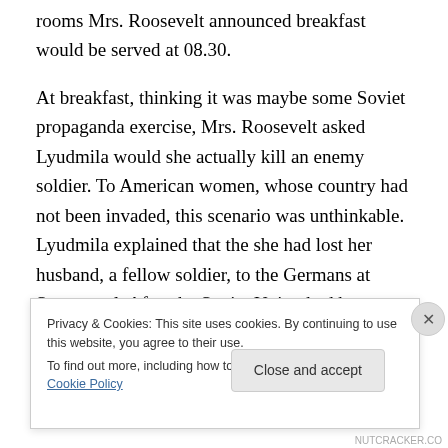rooms Mrs. Roosevelt announced breakfast would be served at 08.30.
At breakfast, thinking it was maybe some Soviet propaganda exercise, Mrs. Roosevelt asked Lyudmila would she actually kill an enemy soldier. To American women, whose country had not been invaded, this scenario was unthinkable. Lyudmila explained that the she had lost her husband, a fellow soldier, to the Germans at Sevastopol. After the Soviet Union had been invaded, the civilian population starved and subjected to mass
Privacy & Cookies: This site uses cookies. By continuing to use this website, you agree to their use.
To find out more, including how to control cookies, see here: Cookie Policy
Close and accept
NUTCRACKER.CO